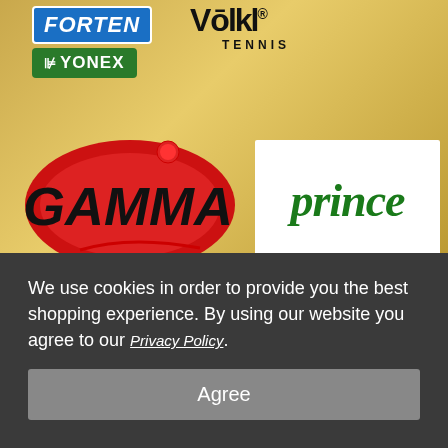[Figure (logo): Tennis brand logos banner: Forten (blue), Volkl Tennis (black on gold), Yonex (green), Gamma (red oval), Prince (green italic), with a gold/yellow background. A tennis ball icon is shown below the banner.]
Item #: M_String_Prince
($10.00)
We use cookies in order to provide you the best shopping experience. By using our website you agree to our Privacy Policy.
Agree